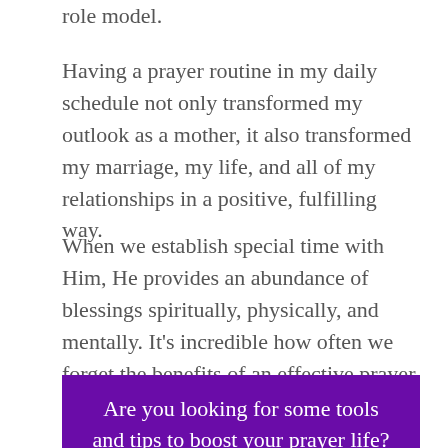role model.
Having a prayer routine in my daily schedule not only transformed my outlook as a mother, it also transformed my marriage, my life, and all of my relationships in a positive, fulfilling way.
When we establish special time with Him, He provides an abundance of blessings spiritually, physically, and mentally. It’s incredible how often we forget the benefits of an effective prayer life.
Are you looking for some tools and tips to boost your prayer life? If so, be sure to visit our Prayer Resources